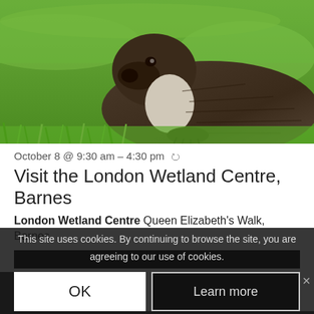[Figure (photo): Photo of an otter sitting on green grass, viewed from the side, with dark brown fur and lighter underside]
October 8 @ 9:30 am – 4:30 pm ↺
Visit the London Wetland Centre, Barnes
London Wetland Centre Queen Elizabeth's Walk, Barnes
This site uses cookies. By continuing to browse the site, you are agreeing to our use of cookies.
OK
Learn more